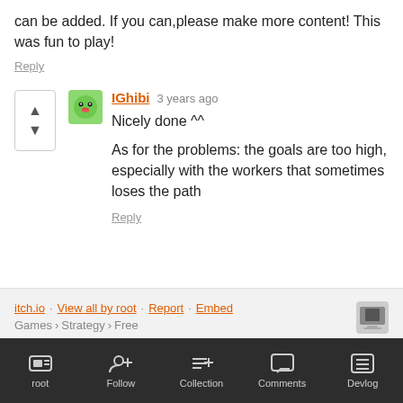can be added. If you can,please make more content! This was fun to play!
Reply
IGhibi  3 years ago
Nicely done ^^

As for the problems: the goals are too high, especially with the workers that sometimes loses the path
Reply
itch.io · View all by root · Report · Embed
Games › Strategy › Free
root  Follow  Collection  Comments  Devlog